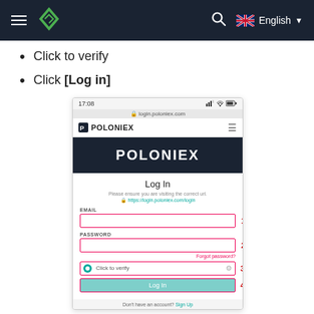Navigation bar with hamburger menu, logo, search icon, English language selector
Click to verify
Click [Log in]
[Figure (screenshot): Mobile screenshot of Poloniex login page showing email field (1), password field (2), click to verify captcha (3), and Log in button (4). Also shows app header with Poloniex branding and dark navy banner.]